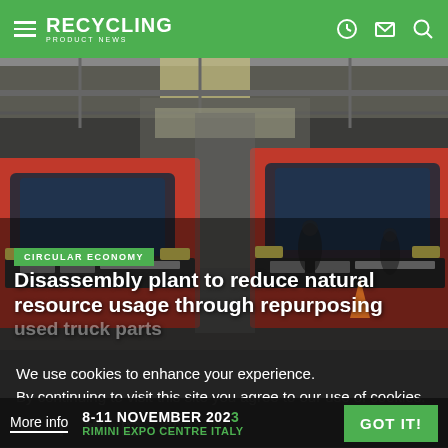RECYCLING PRODUCT NEWS
[Figure (photo): Industrial disassembly facility with two red trucks parked inside a large warehouse with overhead cranes and industrial lighting. Workers visible in background.]
CIRCULAR ECONOMY
Disassembly plant to reduce natural resource usage through repurposing used truck parts
We use cookies to enhance your experience. By continuing to visit this site you agree to our use of cookies.
More info
8-11 NOVEMBER 2023 RIMINI EXPO CENTRE ITALY
GOT IT!